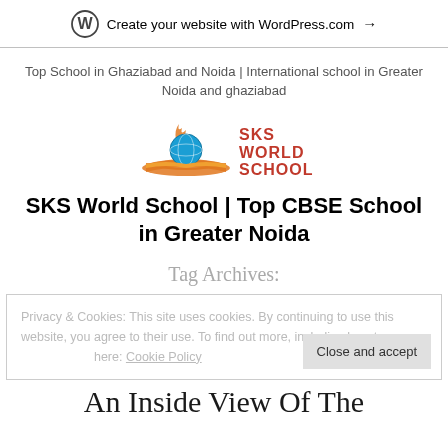Create your website with WordPress.com →
Top School in Ghaziabad and Noida | International school in Greater Noida and ghaziabad
[Figure (logo): SKS World School logo with globe and book graphic, text reads SKS WORLD SCHOOL]
SKS World School | Top CBSE School in Greater Noida
Tag Archives:
Privacy & Cookies: This site uses cookies. By continuing to use this website, you agree to their use. To find out more, including how to control cookies, see here: Cookie Policy
An Inside View Of The